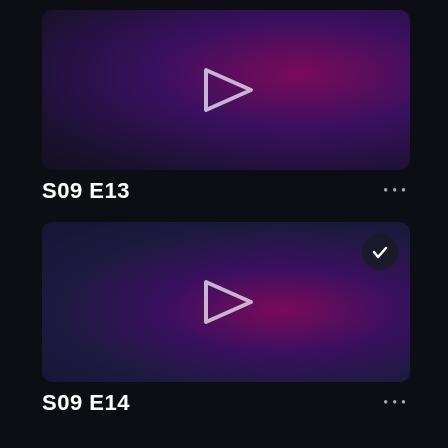[Figure (screenshot): Video episode thumbnail card for S09 E13 with dark purple gradient background and a play button icon in the center]
S09 E13
...
[Figure (screenshot): Video episode thumbnail card for S09 E14 with dark blue-purple gradient background, a play button icon in the center, and a checkmark badge in the top right corner]
S09 E14
...